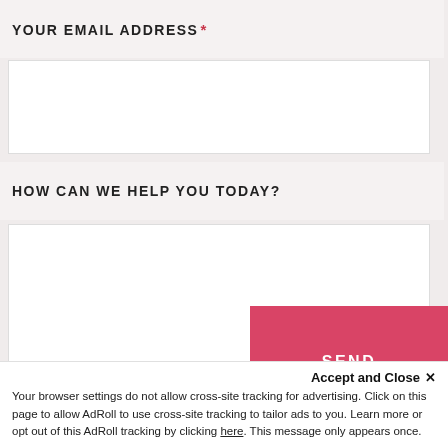YOUR EMAIL ADDRESS*
[Figure (screenshot): Empty text input field for email address]
HOW CAN WE HELP YOU TODAY?
[Figure (screenshot): Empty textarea for message input with resize handle]
SEND
Accept and Close ×
Your browser settings do not allow cross-site tracking for advertising. Click on this page to allow AdRoll to use cross-site tracking to tailor ads to you. Learn more or opt out of this AdRoll tracking by clicking here. This message only appears once.